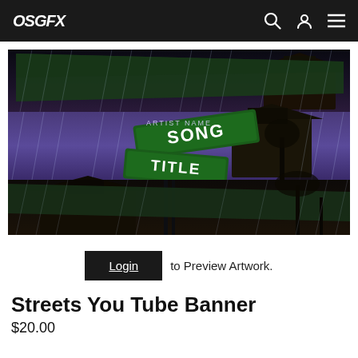OSGFX
[Figure (screenshot): YouTube banner mockup showing street signs reading SONG and TITLE with ARTIST NAME text, rainy urban background with dark skies, large green street signs, abandoned house, rain streaks, dark atmospheric scene]
Login to Preview Artwork.
Streets You Tube Banner
$20.00